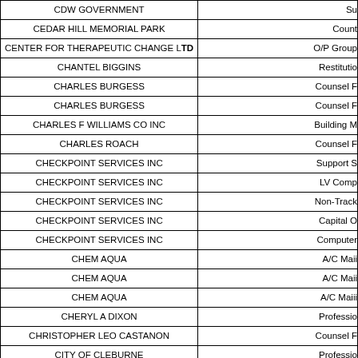| Vendor Name | Description |
| --- | --- |
| CDW GOVERNMENT | Su… |
| CEDAR HILL MEMORIAL PARK | Count… |
| CENTER FOR THERAPEUTIC CHANGE LTD | O/P Group… |
| CHANTEL BIGGINS | Restitutio… |
| CHARLES BURGESS | Counsel F… |
| CHARLES BURGESS | Counsel F… |
| CHARLES F WILLIAMS CO INC | Building M… |
| CHARLES ROACH | Counsel F… |
| CHECKPOINT SERVICES INC | Support S… |
| CHECKPOINT SERVICES INC | LV Comp… |
| CHECKPOINT SERVICES INC | Non-Track… |
| CHECKPOINT SERVICES INC | Capital O… |
| CHECKPOINT SERVICES INC | Computer… |
| CHEM AQUA | A/C Maii… |
| CHEM AQUA | A/C Maii… |
| CHEM AQUA | A/C Maii… |
| CHERYL A DIXON | Professio… |
| CHRISTOPHER LEO CASTANON | Counsel F… |
| CITY OF CLEBURNE | Professio… |
| CITY OF NORTH RICHLAND HILLS | Field Equ… |
| CLEMENTE DE LA CRUZ | Counse… |
| CLEMENTE DE LA CRUZ | Counsel F… |
| COAA - CONSTRUCTION OWNERS… | P… |